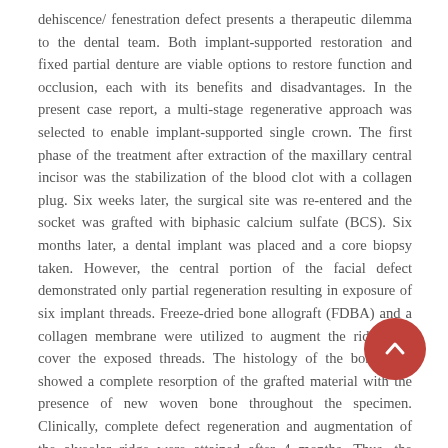dehiscence/ fenestration defect presents a therapeutic dilemma to the dental team. Both implant-supported restoration and fixed partial denture are viable options to restore function and occlusion, each with its benefits and disadvantages. In the present case report, a multi-stage regenerative approach was selected to enable implant-supported single crown. The first phase of the treatment after extraction of the maxillary central incisor was the stabilization of the blood clot with a collagen plug. Six weeks later, the surgical site was re-entered and the socket was grafted with biphasic calcium sulfate (BCS). Six months later, a dental implant was placed and a core biopsy taken. However, the central portion of the facial defect demonstrated only partial regeneration resulting in exposure of six implant threads. Freeze-dried bone allograft (FDBA) and a collagen membrane were utilized to augment the ridge and cover the exposed threads. The histology of the bone core showed a complete resorption of the grafted material with the presence of new woven bone throughout the specimen. Clinically, complete defect regeneration and augmentation of the alveolar ridge were attained after 4 months. Thus, the clinician should consider the pros and cons of this regenerative approach along with other more conservative treatment alternatives when dealing with